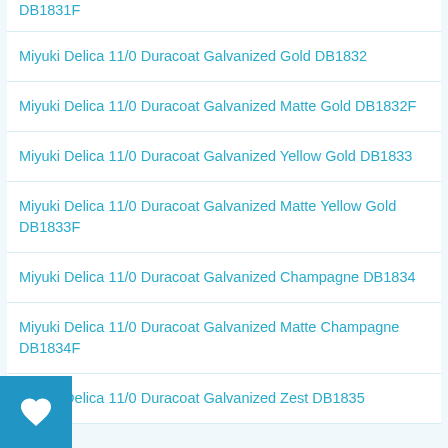DB1831F
Miyuki Delica 11/0 Duracoat Galvanized Gold DB1832
Miyuki Delica 11/0 Duracoat Galvanized Matte Gold DB1832F
Miyuki Delica 11/0 Duracoat Galvanized Yellow Gold DB1833
Miyuki Delica 11/0 Duracoat Galvanized Matte Yellow Gold DB1833F
Miyuki Delica 11/0 Duracoat Galvanized Champagne DB1834
Miyuki Delica 11/0 Duracoat Galvanized Matte Champagne DB1834F
Miyuki Delica 11/0 Duracoat Galvanized Zest DB1835